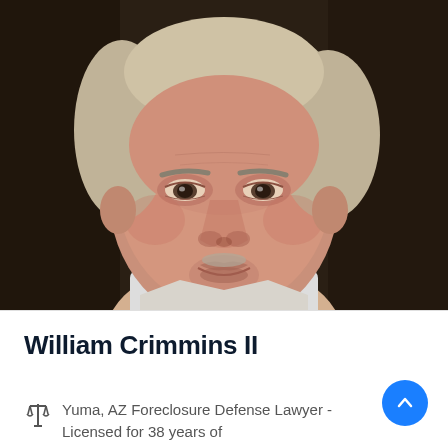[Figure (photo): Headshot portrait of William Crimmins II, a middle-aged man with light grey-blonde hair, wearing a light-colored shirt, photographed in close-up against a dark background.]
William Crimmins II
Yuma, AZ Foreclosure Defense Lawyer - Licensed for 38 years of